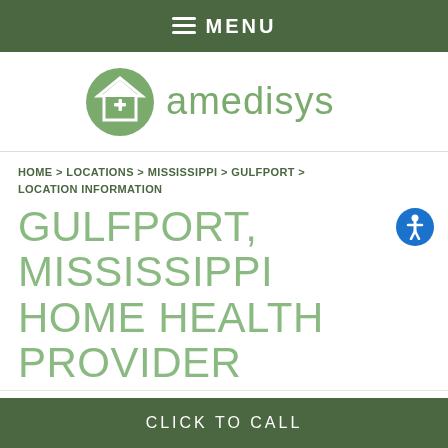≡ MENU
[Figure (logo): Amedisys logo with green house/cross icon and 'amedisys' text]
HOME > LOCATIONS > MISSISSIPPI > GULFPORT > LOCATION INFORMATION
GULFPORT, MISSISSIPPI HOME HEALTH PROVIDER
Tender Loving Care Home Health Care (1421)
an Amedisys Company
[Figure (logo): Amedisys logo small variant with green house/cross icon and 'amedisys' text]
CLICK TO CALL